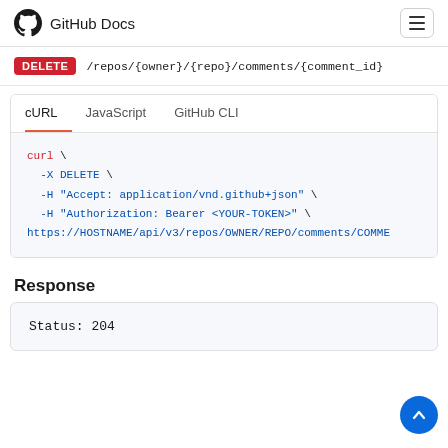GitHub Docs
DELETE /repos/{owner}/{repo}/comments/{comment_id}
cURL   JavaScript   GitHub CLI
curl \
  -X DELETE \
  -H "Accept: application/vnd.github+json" \
  -H "Authorization: Bearer <YOUR-TOKEN>" \
  https://HOSTNAME/api/v3/repos/OWNER/REPO/comments/COMME
Response
Status: 204